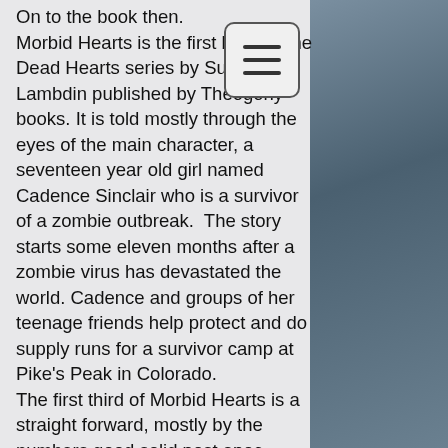On to the book then. Morbid Hearts is the first book in the Dead Hearts series by Susanne L. Lambdin published by Theogony books. It is told mostly through the eyes of the main character, a seventeen year old girl named Cadence Sinclair who is a survivor of a zombie outbreak.  The story starts some eleven months after a zombie virus has devastated the world. Cadence and groups of her teenage friends help protect and do supply runs for a survivor camp at Pike's Peak in Colorado. The first third of Morbid Hearts is a straight forward, mostly by the numbers good solid post apoc zombie story. It doesn't really break any new ground for the genre and leans heavily on the traditional tropes...